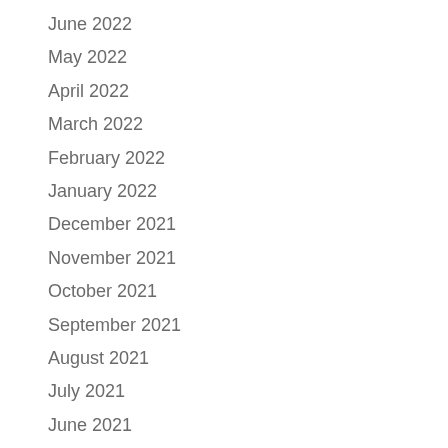June 2022
May 2022
April 2022
March 2022
February 2022
January 2022
December 2021
November 2021
October 2021
September 2021
August 2021
July 2021
June 2021
May 2021
December 2020